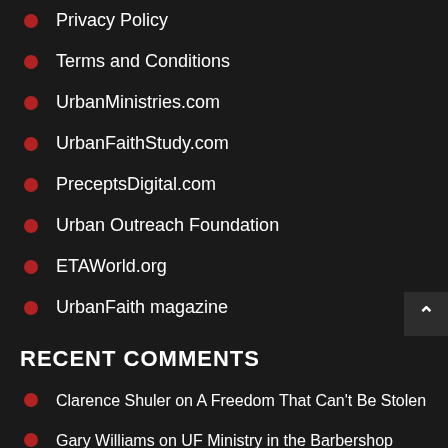Privacy Policy
Terms and Conditions
UrbanMinistries.com
UrbanFaithStudy.com
PreceptsDigital.com
Urban Outreach Foundation
ETAWorld.org
UrbanFaith magazine
RECENT COMMENTS
Clarence Shuler on A Freedom That Can't Be Stolen
Gary Williams on UF Ministry in the Barbershop
Veltris Patterson on EntreVangelism: Stepping Out of the Church and Into the Marketplace